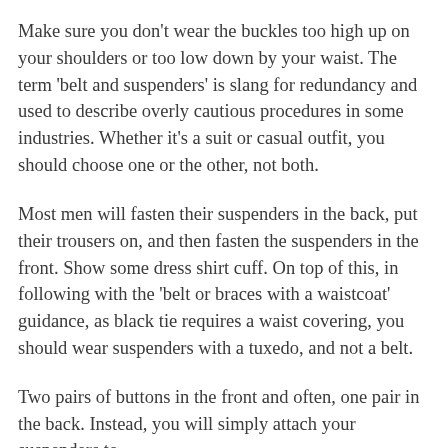Make sure you don't wear the buckles too high up on your shoulders or too low down by your waist. The term 'belt and suspenders' is slang for redundancy and used to describe overly cautious procedures in some industries. Whether it's a suit or casual outfit, you should choose one or the other, not both.
Most men will fasten their suspenders in the back, put their trousers on, and then fasten the suspenders in the front. Show some dress shirt cuff. On top of this, in following with the 'belt or braces with a waistcoat' guidance, as black tie requires a waist covering, you should wear suspenders with a tuxedo, and not a belt.
Two pairs of buttons in the front and often, one pair in the back. Instead, you will simply attach your suspenders to